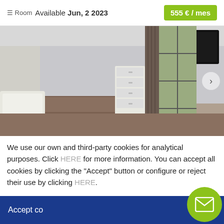Room  Available Jun, 2 2023   555 € / mes
[Figure (photo): Bedroom interior with brown bedding, white pillow, chest of drawers, curtain, window with iron bars, and wall-mounted TV on upper right.]
We use our own and third-party cookies for analytical purposes. Click HERE for more information. You can accept all cookies by clicking the "Accept" button or configure or reject their use by clicking HERE.
Accept co